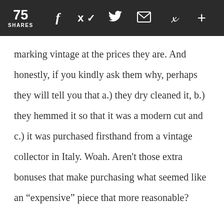75 SHARES
marking vintage at the prices they are. And honestly, if you kindly ask them why, perhaps they will tell you that a.) they dry cleaned it, b.) they hemmed it so that it was a modern cut and c.) it was purchased firsthand from a vintage collector in Italy. Woah. Aren't those extra bonuses that make purchasing what seemed like an “expensive” piece that more reasonable?